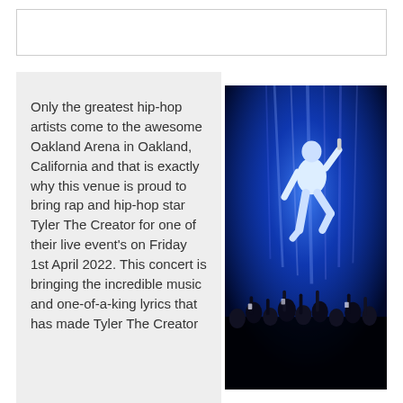Only the greatest hip-hop artists come to the awesome Oakland Arena in Oakland, California and that is exactly why this venue is proud to bring rap and hip-hop star Tyler The Creator for one of their live event's on Friday 1st April 2022. This concert is bringing the incredible music and one-of-a-king lyrics that has made Tyler The Creator
[Figure (photo): A performer in a white suit on a brightly lit blue stage, leaning forward with one leg raised, silhouetted audience visible below with hands raised.]